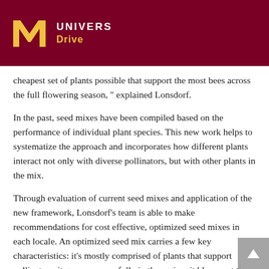UNIVERS Drive
cheapest set of plants possible that support the most bees across the full flowering season," explained Lonsdorf.
In the past, seed mixes have been compiled based on the performance of individual plant species. This new work helps to systematize the approach and incorporates how different plants interact not only with diverse pollinators, but with other plants in the mix.
Through evaluation of current seed mixes and application of the new framework, Lonsdorf's team is able to make recommendations for cost effective, optimized seed mixes in each locale. An optimized seed mix carries a few key characteristics: it's mostly comprised of plants that support pollinators, it grows successfully in the region, it blooms at the right time, and it's compatible with local land management practices.